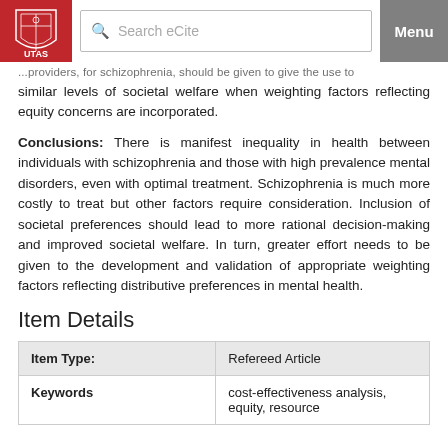UTAS eCite — Search eCite | Menu
...providers, for schizophrenia, should be given to give the use to similar levels of societal welfare when weighting factors reflecting equity concerns are incorporated.
Conclusions: There is manifest inequality in health between individuals with schizophrenia and those with high prevalence mental disorders, even with optimal treatment. Schizophrenia is much more costly to treat but other factors require consideration. Inclusion of societal preferences should lead to more rational decision-making and improved societal welfare. In turn, greater effort needs to be given to the development and validation of appropriate weighting factors reflecting distributive preferences in mental health.
Item Details
| Item Type: |  |
| --- | --- |
| Item Type: | Refereed Article |
| Keywords | cost-effectiveness analysis, equity, resource |